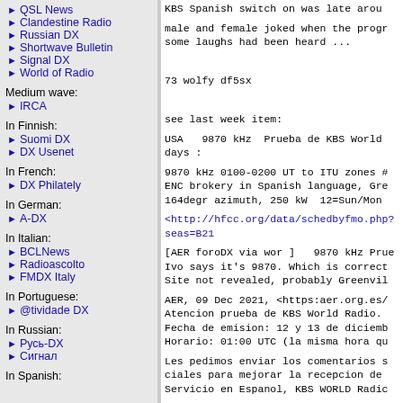QSL News
Clandestine Radio
Russian DX
Shortwave Bulletin
Signal DX
World of Radio
Medium wave:
IRCA
In Finnish:
Suomi DX
DX Usenet
In French:
DX Philately
In German:
A-DX
In Italian:
BCLNews
Radioascolto
FMDX Italy
In Portuguese:
@tividade DX
In Russian:
Русь-DX
Сигнал
In Spanish:
KBS Spanish switch on was late arou
male and female joked when the progr some laughs had been heard ...
73 wolfy df5sx
see last week item:
USA  9870 kHz  Prueba de KBS World days :
9870 kHz 0100-0200 UT to ITU zones # ENC brokery in Spanish language, Gre 164degr azimuth, 250 kW  12=Sun/Mon
<http://hfcc.org/data/schedbyfmo.php?seas=B21
[AER foroDX via wor ]  9870 kHz Prue Ivo says it's 9870. Which is correct Site not revealed, probably Greenvil
AER, 09 Dec 2021, <https:aer.org.es/ Atencion prueba de KBS World Radio. Fecha de emision: 12 y 13 de diciemb Horario: 01:00 UTC (la misma hora qu
Les pedimos enviar los comentarios s ciales para mejorar la recepcion de Servicio en Espanol, KBS WORLD Radic